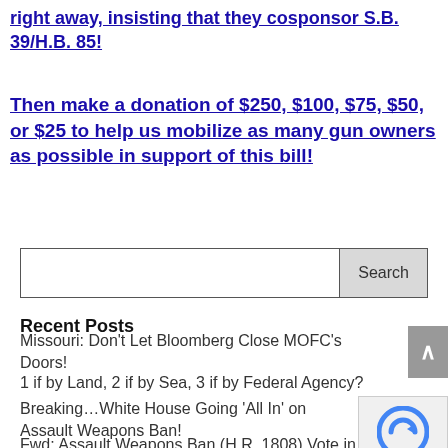right away, insisting that they cosponsor S.B. 39/H.B. 85!
Then make a donation of $250, $100, $75, $50, or $25 to help us mobilize as many gun owners as possible in support of this bill!
Search
Recent Posts
Missouri: Don't Let Bloomberg Close MOFC's Doors!
1 if by Land, 2 if by Sea, 3 if by Federal Agency?
Breaking...White House Going 'All In' on Assault Weapons Ban!
Fwd: Assault Weapons Ban (H.R. 1808) Vote in